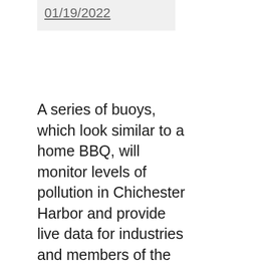| 01/19/2022 |
A series of buoys, which look similar to a home BBQ, will monitor levels of pollution in Chichester Harbor and provide live data for industries and members of the public.